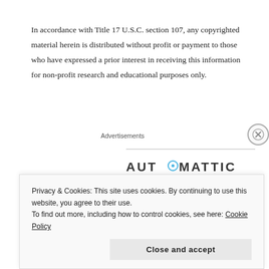In accordance with Title 17 U.S.C. section 107, any copyrighted material herein is distributed without profit or payment to those who have expressed a prior interest in receiving this information for non-profit research and educational purposes only.
Advertisements
[Figure (logo): AUTOMATTIC logo with stylized O containing a dot]
Build a better web
Privacy & Cookies: This site uses cookies. By continuing to use this website, you agree to their use.
To find out more, including how to control cookies, see here: Cookie Policy
Close and accept